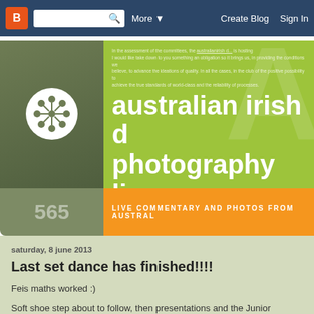[Figure (screenshot): Blogger navbar with orange B logo, search bar, More dropdown, Create Blog and Sign In links on dark blue background]
[Figure (screenshot): Blog header: dark olive left panel with white snowflake/circle logo, green right panel with text 'australian irish d... photography live...' and watermark A, orange sub-bar with text 'LIVE COMMENTARY AND PHOTOS FROM AUSTRAL...' and olive panel showing '565']
saturday, 8 june 2013
Last set dance has finished!!!!
Feis maths worked :)
Soft shoe step about to follow, then presentations and the Junior Champion of Champion competition.
posted by moderator at 21:25